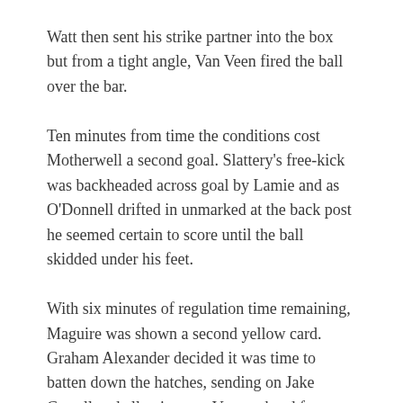Watt then sent his strike partner into the box but from a tight angle, Van Veen fired the ball over the bar.
Ten minutes from time the conditions cost Motherwell a second goal. Slattery's free-kick was backheaded across goal by Lamie and as O'Donnell drifted in unmarked at the back post he seemed certain to score until the ball skidded under his feet.
With six minutes of regulation time remaining, Maguire was shown a second yellow card. Graham Alexander decided it was time to batten down the hatches, sending on Jake Carroll and allowing van Veen to head for a well-earned warm shower.
Still work to do on the pitch, though, and with three minutes remaining Charlie Mulgrew hoisted a free kick